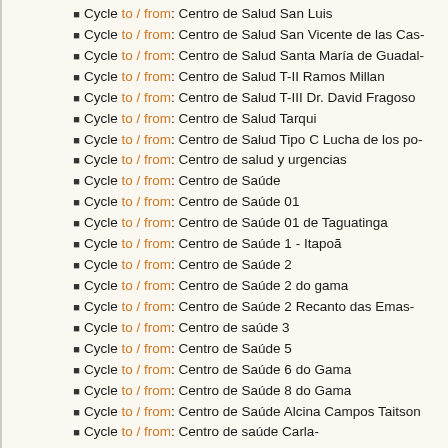Cycle to / from: Centro de Salud San Luis
Cycle to / from: Centro de Salud San Vicente de las Cas-
Cycle to / from: Centro de Salud Santa María de Guadal-
Cycle to / from: Centro de Salud T-II Ramos Millan
Cycle to / from: Centro de Salud T-III Dr. David Fragoso
Cycle to / from: Centro de Salud Tarqui
Cycle to / from: Centro de Salud Tipo C Lucha de los po-
Cycle to / from: Centro de salud y urgencias
Cycle to / from: Centro de Saúde
Cycle to / from: Centro de Saúde 01
Cycle to / from: Centro de Saúde 01 de Taguatinga
Cycle to / from: Centro de Saúde 1 - Itapoã
Cycle to / from: Centro de Saúde 2
Cycle to / from: Centro de Saúde 2 do gama
Cycle to / from: Centro de Saúde 2 Recanto das Emas-
Cycle to / from: Centro de saúde 3
Cycle to / from: Centro de Saúde 5
Cycle to / from: Centro de Saúde 6 do Gama
Cycle to / from: Centro de Saúde 8 do Gama
Cycle to / from: Centro de Saúde Alcina Campos Taitson
Cycle to / from: Centro de saúde Carla-